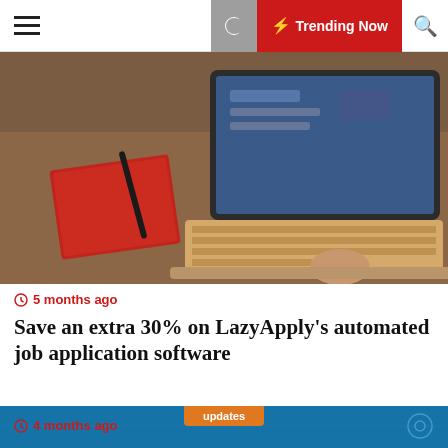Trending Now
[Figure (photo): Person typing on a laptop with a red notebook and pen on a wooden desk]
5 months ago
Save an extra 30% on LazyApply's automated job application software
[Figure (screenshot): CIS Control 16: Application Software Security – blue tech background with circuit board graphics and gears]
4 months ago